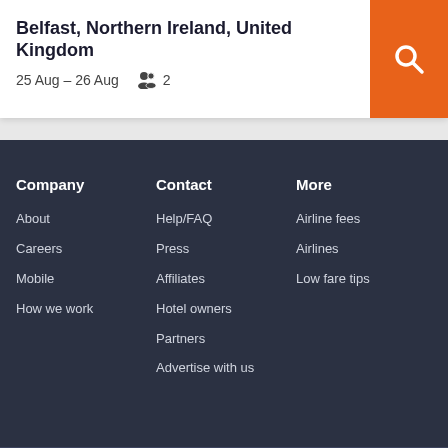Belfast, Northern Ireland, United Kingdom
25 Aug – 26 Aug   2
Company
About
Careers
Mobile
How we work
Contact
Help/FAQ
Press
Affiliates
Hotel owners
Partners
Advertise with us
More
Airline fees
Airlines
Low fare tips